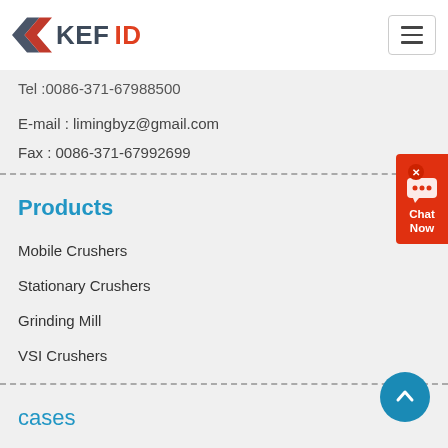[Figure (logo): KEFID company logo with grey arrow/chevron icon and KEFID text in grey and red]
Tel :0086-371-67988500
E-mail : limingbyz@gmail.com
Fax : 0086-371-67992699
Products
Mobile Crushers
Stationary Crushers
Grinding Mill
VSI Crushers
cases
100tph cobble Mobile crushing l...